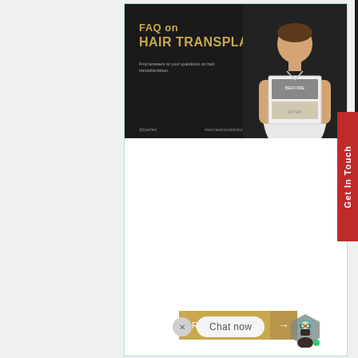[Figure (illustration): Dark banner with 'FAQ on HAIR TRANSPLANT' in gold text, subtitle 'Find answers to your questions on hair transplantation', social handle and website URL, with a man holding a before/after hair transplant photo card on the right side]
Frequently Asked Questions (FAQs) About Hair Loss & Hair Transplant in India
[Figure (illustration): Read More button with gold background and arrow, and a Chat now widget at the bottom with avatar]